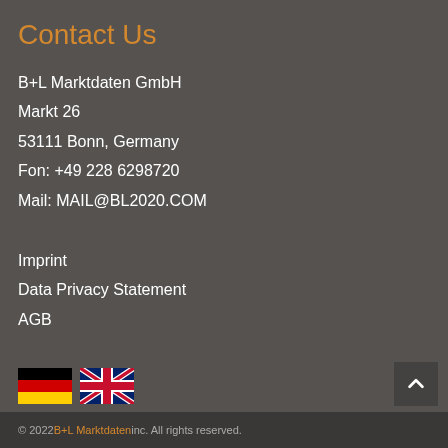Contact Us
B+L Marktdaten GmbH
Markt 26
53111 Bonn, Germany
Fon: +49 228 6298720
Mail: MAIL@BL2020.COM
Imprint
Data Privacy Statement
AGB
[Figure (illustration): German flag icon and UK flag icon side by side]
© 2022 B+L Marktdaten inc. All rights reserved.